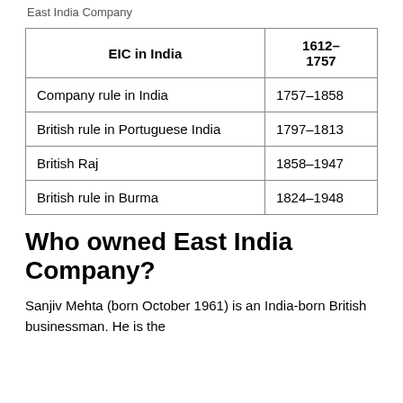East India Company
| EIC in India | 1612–1757 |
| --- | --- |
| Company rule in India | 1757–1858 |
| British rule in Portuguese India | 1797–1813 |
| British Raj | 1858–1947 |
| British rule in Burma | 1824–1948 |
Who owned East India Company?
Sanjiv Mehta (born October 1961) is an India-born British businessman. He is the